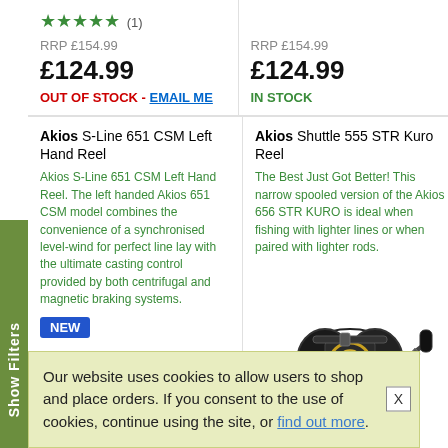★★★★★ (1)
RRP £154.99
£124.99
OUT OF STOCK - EMAIL ME
RRP £154.99
£124.99
IN STOCK
Akios S-Line 651 CSM Left Hand Reel
Akios S-Line 651 CSM Left Hand Reel. The left handed Akios 651 CSM model combines the convenience of a synchronised level-wind for perfect line lay with the ultimate casting control provided by both centrifugal and magnetic braking systems.
NEW
[Figure (photo): Silver/chrome fishing reel - Akios S-Line 651 CSM Left Hand Reel]
Akios Shuttle 555 STR Kuro Reel
The Best Just Got Better! This narrow spooled version of the Akios 656 STR KURO is ideal when fishing with lighter lines or when paired with lighter rods.
[Figure (photo): Black fishing reel with gold accents - Akios Shuttle 555 STR Kuro Reel]
★★★★★ (1)
RRP
£1...
OUT OF STOCK - EMAIL ME
Our website uses cookies to allow users to shop and place orders. If you consent to the use of cookies, continue using the site, or find out more.
X